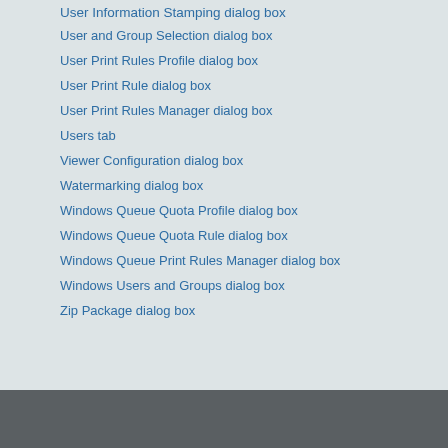User Information Stamping dialog box
User and Group Selection dialog box
User Print Rules Profile dialog box
User Print Rule dialog box
User Print Rules Manager dialog box
Users tab
Viewer Configuration dialog box
Watermarking dialog box
Windows Queue Quota Profile dialog box
Windows Queue Quota Rule dialog box
Windows Queue Print Rules Manager dialog box
Windows Users and Groups dialog box
Zip Package dialog box